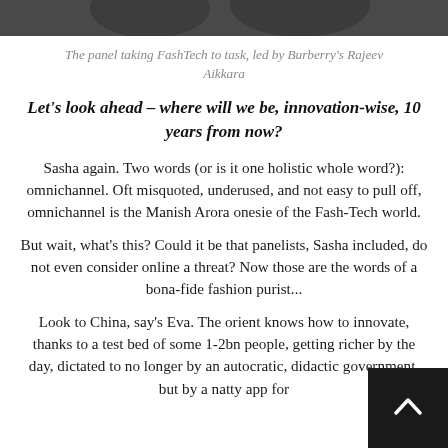[Figure (photo): Top portion of a photo showing people at a panel discussion, only the lower part of their faces/shoulders visible against a dark background]
The panel taking FashTech to task, led by Burberry's Rajeev Aikkara
Let's look ahead – where will we be, innovation-wise, 10 years from now?
Sasha again. Two words (or is it one holistic whole word?): omnichannel. Oft misquoted, underused, and not easy to pull off, omnichannel is the Manish Arora onesie of the Fash-Tech world.
But wait, what's this? Could it be that panelists, Sasha included, do not even consider online a threat? Now those are the words of a bona-fide fashion purist...
Look to China, say's Eva. The orient knows how to innovate, thanks to a test bed of some 1-2bn people, getting richer by the day, dictated to no longer by an autocratic, didactic government, but by a natty app for